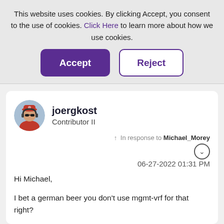This website uses cookies. By clicking Accept, you consent to the use of cookies. Click Here to learn more about how we use cookies.
[Figure (screenshot): Cookie consent buttons: Accept (purple filled) and Reject (white with purple border)]
[Figure (photo): User avatar: circular photo of a person wearing a red cap and headphones]
joergkost
Contributor II
In response to Michael_Morey
06-27-2022 01:31 PM
Hi Michael,

I bet a german beer you don't use mgmt-vrf for that right?